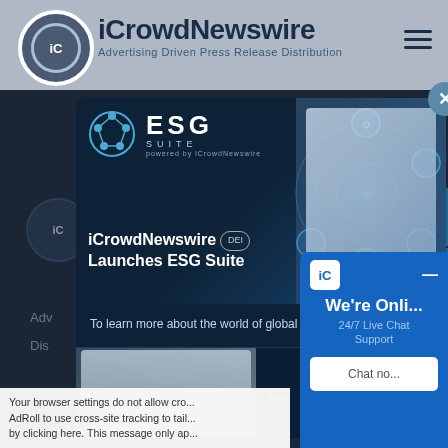[Figure (screenshot): iCrowdNewswire website screenshot showing header with logo and hamburger menu, dark background content area, ESG Suite popup modal with woman and tech imagery, live chat widget, and cookie notice bar]
iCrowdNewswire — Advertising Driven Press Release Distribution
iCrowdNewswire Launches ESG Suite
To learn more about the world of global ESG communications:
We're Onli... 24/7 Live Chat Support
Your browser settings do not allow cro... AdRoll to use cross-site tracking to tail... by clicking here. This message only ap...
Resources